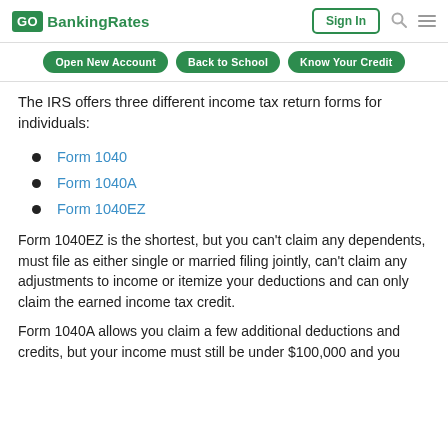GO BankingRates | Sign In
The IRS offers three different income tax return forms for individuals:
Form 1040
Form 1040A
Form 1040EZ
Form 1040EZ is the shortest, but you can't claim any dependents, must file as either single or married filing jointly, can't claim any adjustments to income or itemize your deductions and can only claim the earned income tax credit.
Form 1040A allows you claim a few additional deductions and credits, but your income must still be under $100,000 and you